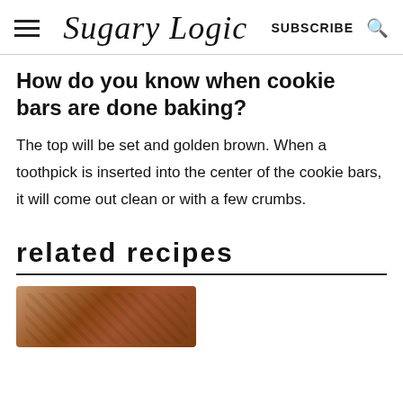Sugary Logic | SUBSCRIBE
How do you know when cookie bars are done baking?
The top will be set and golden brown. When a toothpick is inserted into the center of the cookie bars, it will come out clean or with a few crumbs.
related recipes
[Figure (photo): A photo of chocolate cookie bars or brownies, showing a close-up of the baked good with a rich brown texture.]